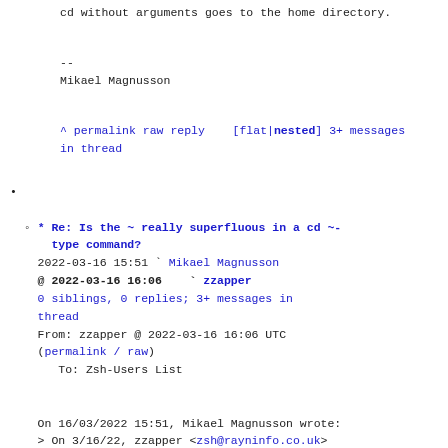cd without arguments goes to the home directory.
--
Mikael Magnusson
^ permalink raw reply    [flat|nested] 3+ messages in thread
* Re: Is the ~ really superfluous in a cd ~-type command?
  2022-03-16 15:51  ` Mikael Magnusson
@ 2022-03-16 16:06    ` zzapper
  0 siblings, 0 replies; 3+ messages in thread
From: zzapper @ 2022-03-16 16:06 UTC (permalink / raw)
   To: Zsh-Users List

On 16/03/2022 15:51, Mikael Magnusson wrote:
> On 3/16/22, zzapper <zsh@rayninfo.co.uk> wrote:
>> Hi
>>
>> cd - or cd ~-
>>
>> cd -1 or cd ~-1